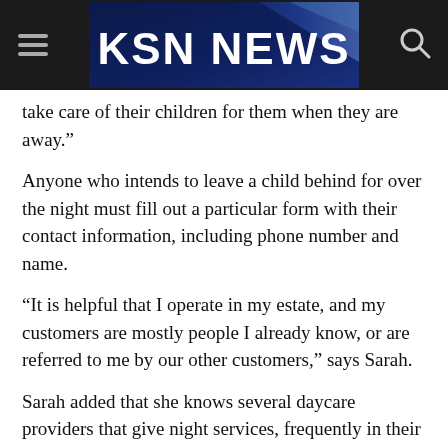KSN NEWS
take care of their children for them when they are away.”
Anyone who intends to leave a child behind for over the night must fill out a particular form with their contact information, including phone number and name.
“It is helpful that I operate in my estate, and my customers are mostly people I already know, or are referred to me by our other customers,” says Sarah.
Sarah added that she knows several daycare providers that give night services, frequently in their own homes.
According to a recent mapping project, Nairobi has approximately 2,700 informal daycares. Since many are not registered with the Kenyan government, the sector’s invisibility continues to be a mystery.